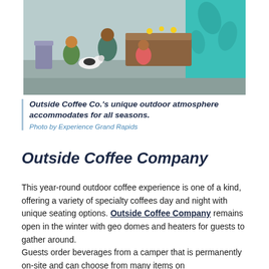[Figure (photo): People sitting outdoors with a dog near a wooden planter and teal-painted wall at Outside Coffee Co.]
Outside Coffee Co.'s unique outdoor atmosphere accommodates for all seasons.
Photo by Experience Grand Rapids
Outside Coffee Company
This year-round outdoor coffee experience is one of a kind, offering a variety of specialty coffees day and night with unique seating options. Outside Coffee Company remains open in the winter with geo domes and heaters for guests to gather around.
Guests order beverages from a camper that is permanently on-site and can choose from many items on